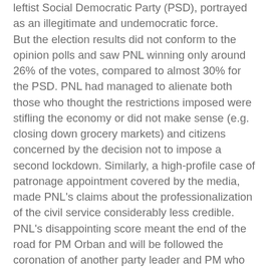leftist Social Democratic Party (PSD), portrayed as an illegitimate and undemocratic force. But the election results did not conform to the opinion polls and saw PNL winning only around 26% of the votes, compared to almost 30% for the PSD. PNL had managed to alienate both those who thought the restrictions imposed were stifling the economy or did not make sense (e.g. closing down grocery markets) and citizens concerned by the decision not to impose a second lockdown. Similarly, a high-profile case of patronage appointment covered by the media, made PNL's claims about the professionalization of the civil service considerably less credible. PNL's disappointing score meant the end of the road for PM Orban and will be followed the coronation of another party leader and PM who has the backing of the President. A center-right coalition with USR-PLUS and UDMR or PMP seems the most likely outcome now. PSD (part of S&D in EP), the winner of the elections, had governed Romania for three years between 2017 and 2019, after a landslide win in late 2016. Their win 4 years ago was fueled by a 'magic tree' type of campaign that promised hikes in wages, pensions, major public investment projects as well as tax cuts and facilities for business. But after the elections,